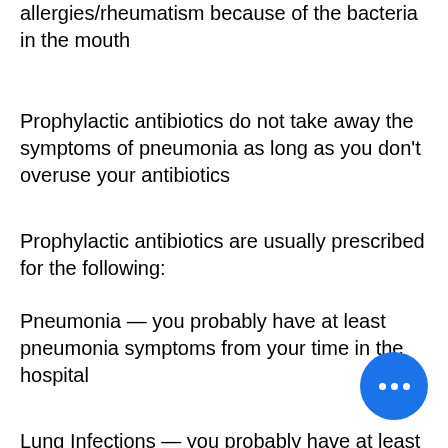allergies/rheumatism because of the bacteria in the mouth
Prophylactic antibiotics do not take away the symptoms of pneumonia as long as you don't overuse your antibiotics
Prophylactic antibiotics are usually prescribed for the following:
Pneumonia — you probably have at least pneumonia symptoms from your time in the hospital
Lung Infections — you probably have at least a mild infection from your time in the hospital
Malaria — malaria symptoms might be worsened by a cold that is very bad
HIV — if you have an infection or bleeding